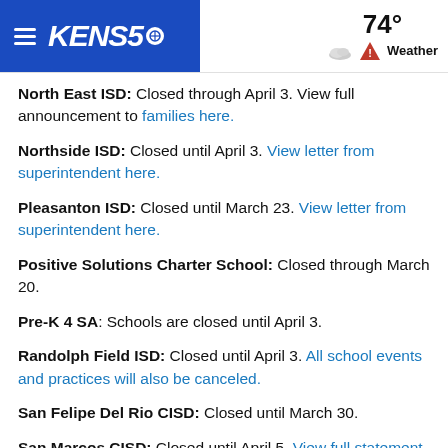KENS5 — 74° Weather
North East ISD: Closed through April 3. View full announcement to families here.
Northside ISD: Closed until April 3. View letter from superintendent here.
Pleasanton ISD: Closed until March 23. View letter from superintendent here.
Positive Solutions Charter School: Closed through March 20.
Pre-K 4 SA: Schools are closed until April 3.
Randolph Field ISD: Closed until April 3. All school events and practices will also be canceled.
San Felipe Del Rio CISD: Closed until March 30.
San Marcos CISD: Closed until April 5. View full statement